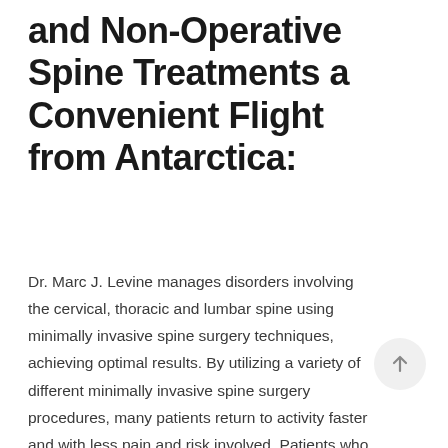and Non-Operative Spine Treatments a Convenient Flight from Antarctica:
Dr. Marc J. Levine manages disorders involving the cervical, thoracic and lumbar spine using minimally invasive spine surgery techniques, achieving optimal results. By utilizing a variety of different minimally invasive spine surgery procedures, many patients return to activity faster and with less pain and risk involved. Patients who might not have been medically cleared for spine surgery previously are now finding safer options utilizing minimally invasive